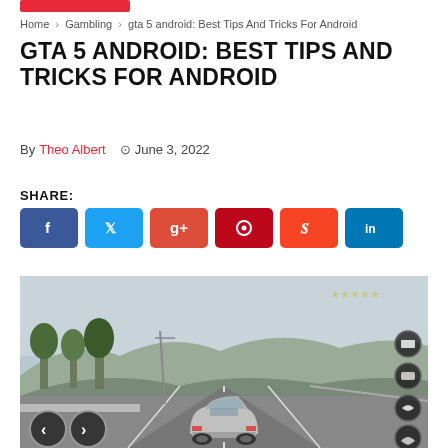Home > Gambling > gta 5 android: Best Tips And Tricks For Android
GTA 5 ANDROID: BEST TIPS AND TRICKS FOR ANDROID
By Theo Albert  June 3, 2022
SHARE:
[Figure (screenshot): GTA 5 Android gameplay screenshot showing a car driving on a road with trees and hills in the background, with mobile game UI controls including navigation arrows and right-side icon buttons.]